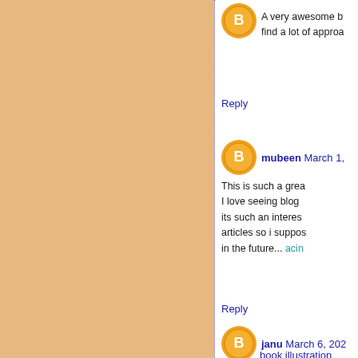[Figure (other): Orange/tan textured background panel on left side of page]
A very awesome b find a lot of approa
Reply
mubeen March 1,
This is such a great I love seeing blog its such an interes articles so i suppos in the future... acin
Reply
janu March 6, 202
book illustration